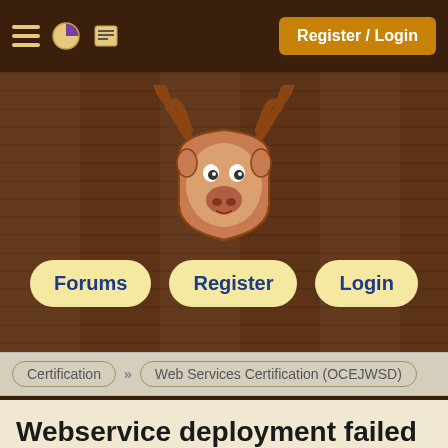Register / Login
[Figure (logo): Cartoon moose head mascot logo for JavaRanch/CodeRanch forum site]
Forums
Register
Login
Certification » Web Services Certification (OCEJWSD)
Webservice deployment failed
Poornima Sharma , Ranch Hand
Jan 27, 2012 06:07:28
+Pie